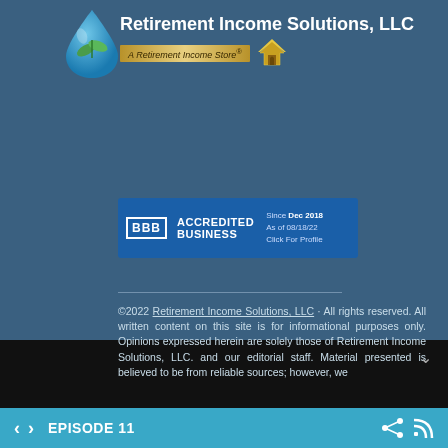[Figure (logo): Retirement Income Solutions LLC logo with water drop icon containing green leaves, company name in white text, and gold italic subtitle 'A Retirement Income Store' with house icon]
[Figure (logo): BBB Accredited Business badge, blue background, Since Dec 2018, As of 08/18/22, Click For Profile]
©2022 Retirement Income Solutions, LLC · All rights reserved. All written content on this site is for informational purposes only. Opinions expressed herein are solely those of Retirement Income Solutions, LLC. and our editorial staff. Material presented is believed to be from reliable sources; however, we
EPISODE 11